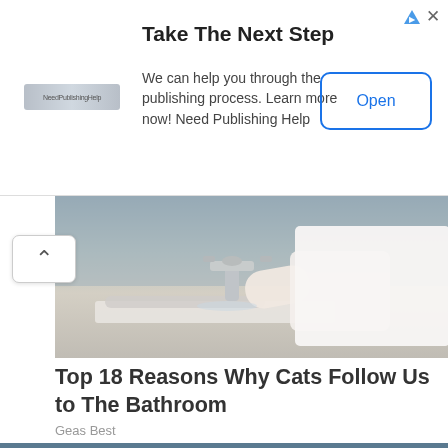[Figure (screenshot): Advertisement banner: 'Take The Next Step — We can help you through the publishing process. Learn more now! Need Publishing Help' with NeedPublishingHelp logo and Open button.]
[Figure (photo): Photo of a person washing hands at a bathroom sink, wearing a white shirt.]
Top 18 Reasons Why Cats Follow Us to The Bathroom
Geas Best
[Figure (photo): Fashion photo of two female models outdoors in desert/arid landscape with large dark stone structures in background, both wearing swimwear/fashion clothing.]